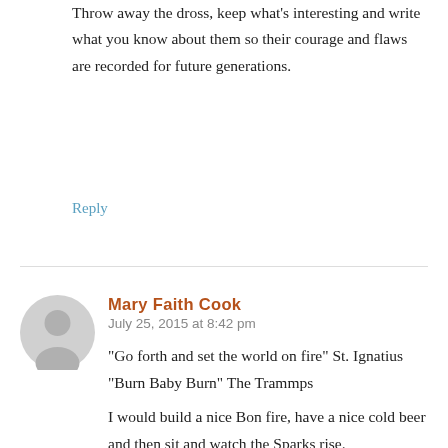Throw away the dross, keep what's interesting and write what you know about them so their courage and flaws are recorded for future generations.
Reply
Mary Faith Cook
July 25, 2015 at 8:42 pm
"Go forth and set the world on fire" St. Ignatius
"Burn Baby Burn" The Trammps

I would build a nice Bon fire, have a nice cold beer and then sit and watch the Sparks rise.
But that's me.
If you're that into recycling well—you go girl!!
Mary Faith